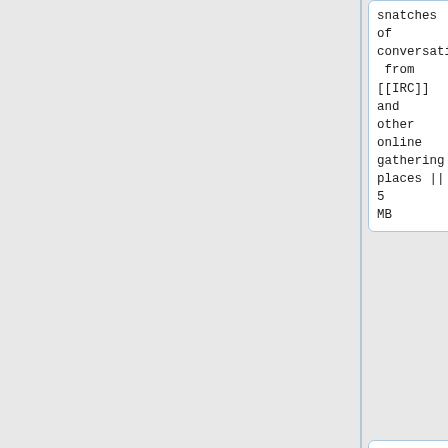snatches of conversation from [[IRC]] and other online gathering places || 5 MB
|-
| [https://sites.google.com/site/archiveofstuff/home/localroger.com.7z Mirror of Revelation Passage Series